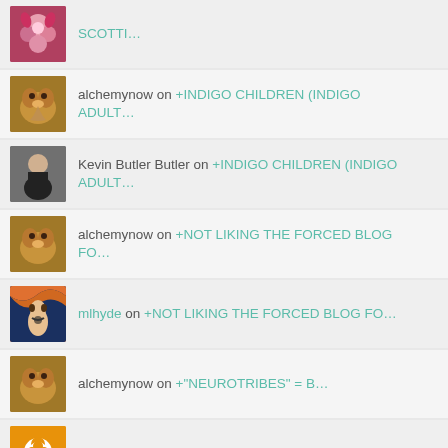SCOTTI…
alchemynow on +INDIGO CHILDREN (INDIGO ADULT…
Kevin Butler Butler on +INDIGO CHILDREN (INDIGO ADULT…
alchemynow on +NOT LIKING THE FORCED BLOG FO…
mlhyde on +NOT LIKING THE FORCED BLOG FO…
alchemynow on +"NEUROTRIBES" = B…
guidinghope on +"NEUROTRIBES" = B…
anke pfefferkorn on +NOT A "HOLIDAY SEASON…
alchemynow on +LEAVING MY BEST BELOVED